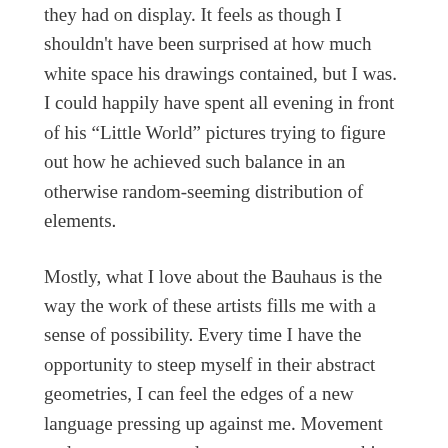they had on display. It feels as though I shouldn't have been surprised at how much white space his drawings contained, but I was. I could happily have spent all evening in front of his “Little World” pictures trying to figure out how he achieved such balance in an otherwise random-seeming distribution of elements.
Mostly, what I love about the Bauhaus is the way the work of these artists fills me with a sense of possibility. Every time I have the opportunity to steep myself in their abstract geometries, I can feel the edges of a new language pressing up against me. Movement and essence are made concrete, not something that can be pinned down, but something inherent which can be expressed with lines on a page.
(Other design movements which make me feel this